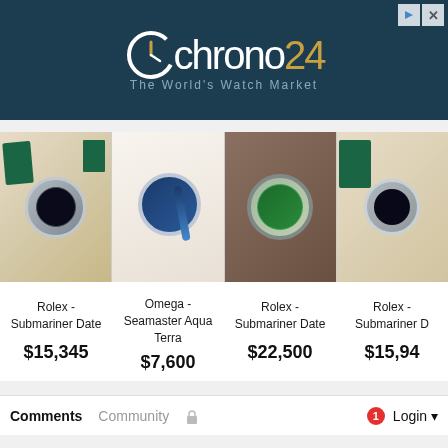[Figure (screenshot): Chrono24 advertisement banner with dark teal background, showing logo with clock icon and text 'chrono24' with '24' in gold, tagline 'The World's Watch Market']
[Figure (photo): Strip of four luxury watch product photos: Rolex Submariner Date with black dial and green box, Omega Seamaster Aqua Terra with blue dial on blue strap, Rolex Submariner with green dial, Rolex Submariner Date with black dial and green box]
Rolex - Submariner Date
$15,345
Omega - Seamaster Aqua Terra
$7,600
Rolex - Submariner Date
$22,500
Rolex - Submariner D
$15,94
Comments   Community   🔒   1   Login